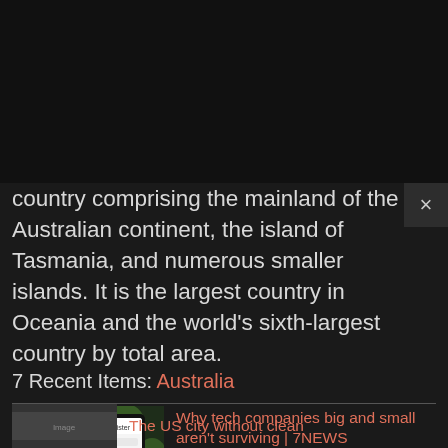country comprising the mainland of the Australian continent, the island of Tasmania, and numerous smaller islands. It is the largest country in Oceania and the world's sixth-largest country by total area.
7 Recent Items: Australia
[Figure (photo): Tech Sector Slowdown - The Latest news thumbnail showing a smartphone with Snapchat app and green/dark background with text overlay]
Why tech companies big and small aren't surviving | 7NEWS
[Figure (photo): Thumbnail for second news article about The US city without clean water]
The US city without clean